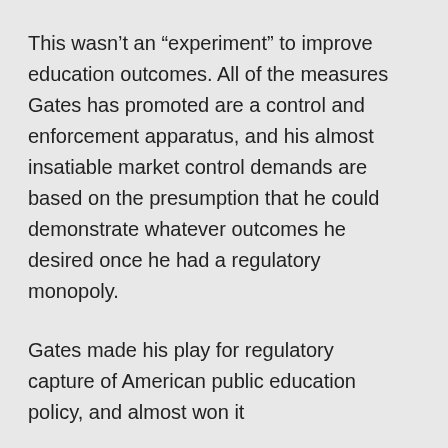This wasn't an “experiment” to improve education outcomes. All of the measures Gates has promoted are a control and enforcement apparatus, and his almost insatiable market control demands are based on the presumption that he could demonstrate whatever outcomes he desired once he had a regulatory monopoly.
Gates made his play for regulatory capture of American public education policy, and almost won it
Yesterday, this Microsoft webpage